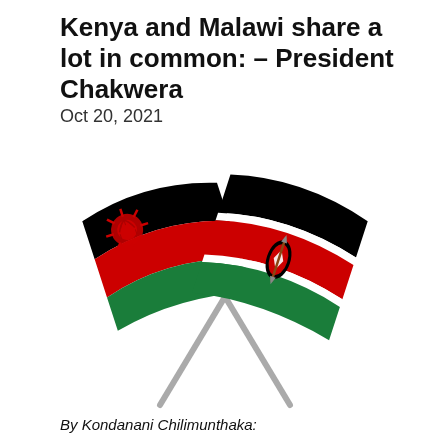Kenya and Malawi share a lot in common: – President Chakwera
Oct 20, 2021
[Figure (illustration): Two crossed flags on diagonal poles — the Malawi flag (black, red, green horizontal stripes with a red rising sun on black) on the left and the Kenya flag (black, red, green horizontal stripes with white borders and a Maasai shield and spears on the red stripe) on the right, crossed in an X shape with grey poles.]
By Kondanani Chilimunthaka: